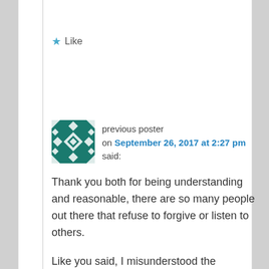Like
previous poster on September 26, 2017 at 2:27 pm said:
Thank you both for being understanding and reasonable, there are so many people out there that refuse to forgive or listen to others.
Like you said, I misunderstood the website, and I should have looked closer. I was on my phone, in public, and was worked up, so I instantly scrolled to leave a comment, ignoring all the others. I